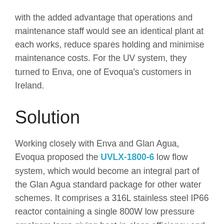with the added advantage that operations and maintenance staff would see an identical plant at each works, reduce spares holding and minimise maintenance costs. For the UV system, they turned to Enva, one of Evoqua's customers in Ireland.
Solution
Working closely with Enva and Glan Agua, Evoqua proposed the UVLX-1800-6 low flow system, which would become an integral part of the Glan Agua standard package for other water schemes. It comprises a 316L stainless steel IP66 reactor containing a single 800W low pressure amalgam lamp giving best-in-class efficiency and lamp life. The reactor is equipped with UV intensity and temperature